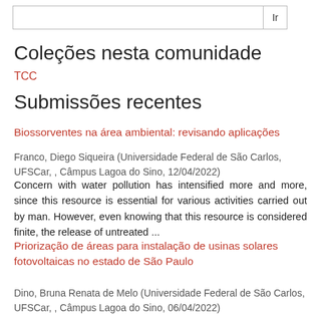Coleções nesta comunidade
TCC
Submissões recentes
Biossorventes na área ambiental: revisando aplicações
Franco, Diego Siqueira (Universidade Federal de São Carlos, UFSCar, , Câmpus Lagoa do Sino, 12/04/2022)
Concern with water pollution has intensified more and more, since this resource is essential for various activities carried out by man. However, even knowing that this resource is considered finite, the release of untreated ...
Priorização de áreas para instalação de usinas solares fotovoltaicas no estado de São Paulo
Dino, Bruna Renata de Melo (Universidade Federal de São Carlos, UFSCar, , Câmpus Lagoa do Sino, 06/04/2022)